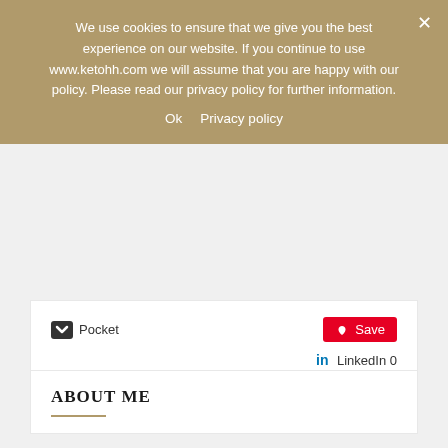We use cookies to ensure that we give you the best experience on our website. If you continue to use www.ketohh.com we will assume that you are happy with our policy. Please read our privacy policy for further information.
Ok   Privacy policy
[Figure (screenshot): Pocket and Pinterest Save share buttons, followed by LinkedIn 0 share button]
ABOUT ME